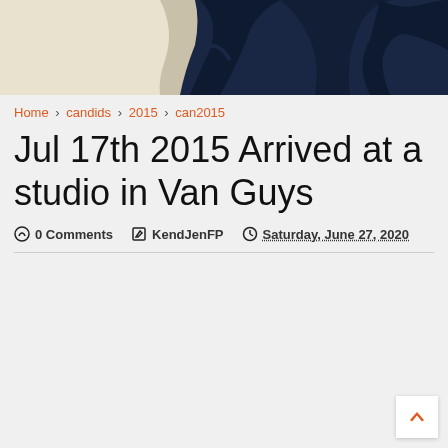[Figure (photo): Partial photo showing dark silhouette shapes (possibly plant/foliage) against a navy blue and cream/beige background, cropped at top of page]
Home > candids > 2015 > can2015
Jul 17th 2015 Arrived at a studio in Van Guys
0 Comments   KendJenFP   Saturday, June 27, 2020